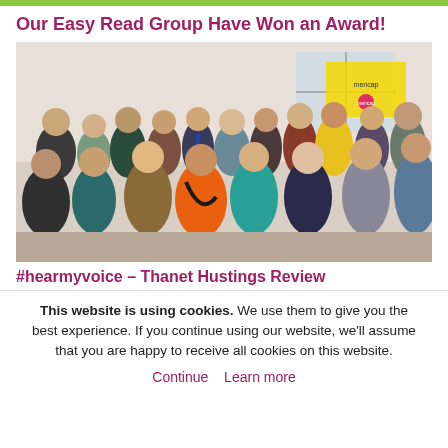Our Easy Read Group Have Won an Award!
[Figure (photo): Group photo of approximately 15–20 people standing together indoors, smiling and posing for the camera. A yellow banner with 'mencap' logo is visible in the background. People are wearing various coloured clothing including orange, teal, yellow, striped tops. A man in the centre wears a suit with a tie.]
#hearmyvoice – Thanet Hustings Review
This website is using cookies. We use them to give you the best experience. If you continue using our website, we'll assume that you are happy to receive all cookies on this website.
Continue   Learn more